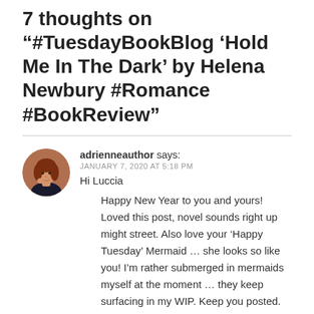7 thoughts on “#TuesdayBookBlog ‘Hold Me In The Dark’ by Helena Newbury #Romance #BookReview”
adrienneauthor says:
JANUARY 7, 2020 AT 5:18 PM

Hi Luccia

Happy New Year to you and yours! Loved this post, novel sounds right up might street. Also love your ‘Happy Tuesday’ Mermaid … she looks so like you! I’m rather submerged in mermaids myself at the moment … they keep surfacing in my WIP. Keep you posted. Loads of love